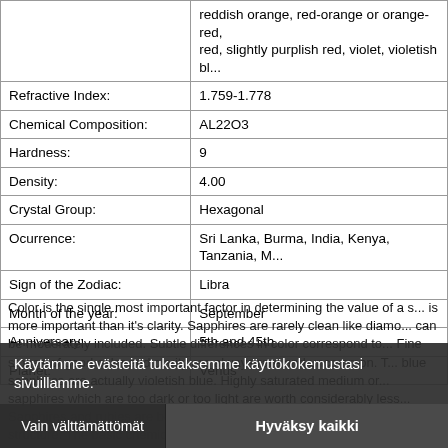| Property | Value |
| --- | --- |
|  | reddish orange, red-orange or orange-red, red, slightly purplish red, violet, violetish bl... |
| Refractive Index: | 1.759-1.778 |
| Chemical Composition: | AL22O3 |
| Hardness: | 9 |
| Density: | 4.00 |
| Crystal Group: | Hexagonal |
| Ocurrence: | Sri Lanka, Burma, India, Kenya, Tanzania, M... |
| Sign of the Zodiac: | Libra |
| Month of the year: | September |
| Anniversary: | 5th and 45th |
| Planet: | Venus |
Color is the single most important factor in determining the value of a s... is more important than it's clarity. Sapphires are rarely clean like diamo... can be moderately included. Subtle differences in color correspond to... Fine stones of good color and clarity are always rare and uncommon. T... blue sapphires are actually violetish blue. Highly saturated medium or... sapphires which are too dark or too light are worth considerably less... Sapphires and rubies are both members of the corundum family with... structure. The basic chemical formula is AL22O3 ... the same for both ru... trace elements like chromium, iron, vanadium and titanium which are... colors in which the mineral occurs. When a corundum is red, it is no... sapphire. In practice however, the determination not always so straig... internationally accepted standards for the color of a ruby. Gemologists...
Käytämme evästeitä tukeaksemme käyttökokemustasi sivuillamme.